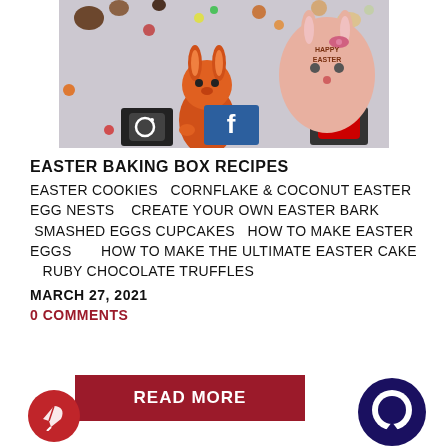[Figure (photo): Easter-themed photo showing chocolate Easter eggs, a cute orange bunny figure, a pink bunny-shaped chocolate egg with 'Happy Easter' text, and social media icons on small chocolate squares, on a light purple background.]
EASTER BAKING BOX RECIPES
EASTER COOKIES  CORNFLAKE & COCONUT EASTER EGG NESTS   CREATE YOUR OWN EASTER BARK  SMASHED EGGS CUPCAKES  HOW TO MAKE EASTER EGGS      HOW TO MAKE THE ULTIMATE EASTER CAKE   RUBY CHOCOLATE TRUFFLES
MARCH 27, 2021
0 COMMENTS
READ MORE